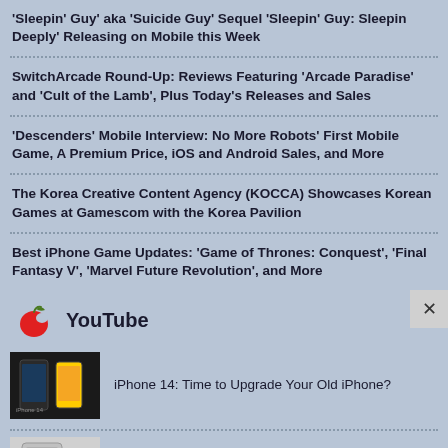'Sleepin' Guy' aka 'Suicide Guy' Sequel 'Sleepin' Guy: Sleepin Deeply' Releasing on Mobile this Week
SwitchArcade Round-Up: Reviews Featuring 'Arcade Paradise' and 'Cult of the Lamb', Plus Today's Releases and Sales
'Descenders' Mobile Interview: No More Robots' First Mobile Game, A Premium Price, iOS and Android Sales, and More
The Korea Creative Content Agency (KOCCA) Showcases Korean Games at Gamescom with the Korea Pavilion
Best iPhone Game Updates: 'Game of Thrones: Conquest', 'Final Fantasy V', 'Marvel Future Revolution', and More
YouTube
[Figure (photo): Thumbnail image of iPhone 14 video]
iPhone 14: Time to Upgrade Your Old iPhone?
[Figure (photo): Thumbnail image of Apple's Foldable iPhone video]
Apple's Foldable iPhone (The MacRumors Show EP 19)